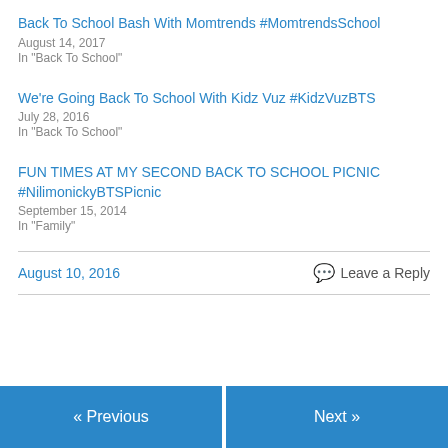Back To School Bash With Momtrends #MomtrendsSchool
August 14, 2017
In "Back To School"
We're Going Back To School With Kidz Vuz #KidzVuzBTS
July 28, 2016
In "Back To School"
FUN TIMES AT MY SECOND BACK TO SCHOOL PICNIC #NilimonickyBTSPicnic
September 15, 2014
In "Family"
August 10, 2016
Leave a Reply
« Previous
Next »